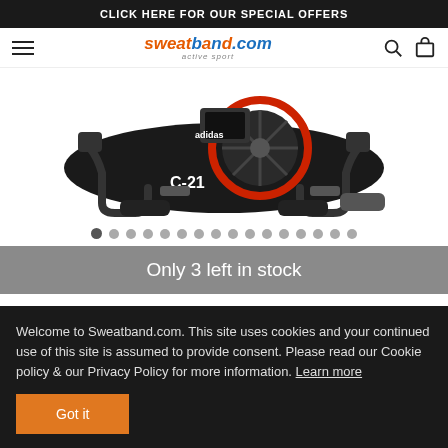CLICK HERE FOR OUR SPECIAL OFFERS
[Figure (logo): Sweatband.com active sport logo with hamburger menu, search icon, and cart icon]
[Figure (photo): Adidas C-21 exercise bike/cycle trainer product photo on white background]
Only 3 left in stock
SPECIAL OFFER
Welcome to Sweatband.com. This site uses cookies and your continued use of this site is assumed to provide consent. Please read our Cookie policy & our Privacy Policy for more information. Learn more
Got it